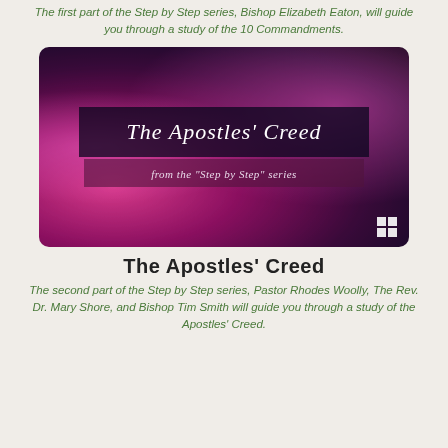The first part of the Step by Step series, Bishop Elizabeth Eaton, will guide you through a study of the 10 Commandments.
[Figure (photo): Promotional image for 'The Apostles' Creed' from the 'Step by Step' series, showing text over a dark purple/magenta smoky background with a grid icon in the lower right corner.]
The Apostles' Creed
The second part of the Step by Step series, Pastor Rhodes Woolly, The Rev. Dr. Mary Shore, and Bishop Tim Smith will guide you through a study of the Apostles' Creed.